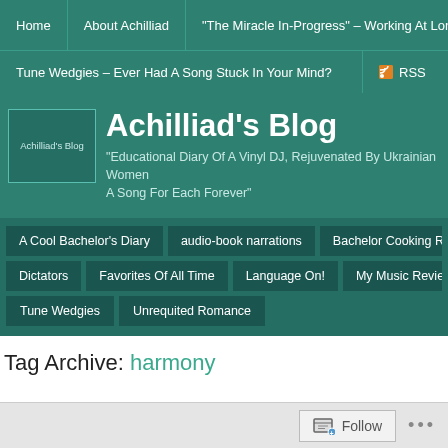Home | About Achilliad | "The Miracle In-Progress" – Working At Long-Dist
Tune Wedgies – Ever Had A Song Stuck In Your Mind? | RSS
Achilliad's Blog
"Educational Diary Of A Vinyl DJ, Rejuvenated By Ukrainian Women A Song For Each Forever"
A Cool Bachelor's Diary
audio-book narrations
Bachelor Cooking R...
Dictators
Favorites Of All Time
Language On!
My Music Revie...
Tune Wedgies
Unrequited Romance
Tag Archive: harmony